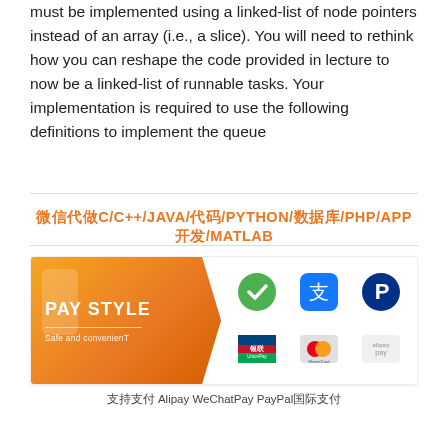must be implemented using a linked-list of node pointers instead of an array (i.e., a slice). You will need to rethink how you can reshape the code provided in lecture to now be a linked-list of runnable tasks. Your implementation is required to use the following definitions to implement the queue
微信代做C/C++/JAVA/代码/PYTHON/数据库/PHP/APP开发/MATLAB
[Figure (infographic): Payment methods banner showing PAY STYLE with Safe and convenienT text on orange background, with icons for WeChatPay (green checkmark), Alipay (blue character), PayPal (blue P), UnionPay, MasterCard, and Alipay pay logos]
支持支付 Alipay WeChatPay PayPal国际支付